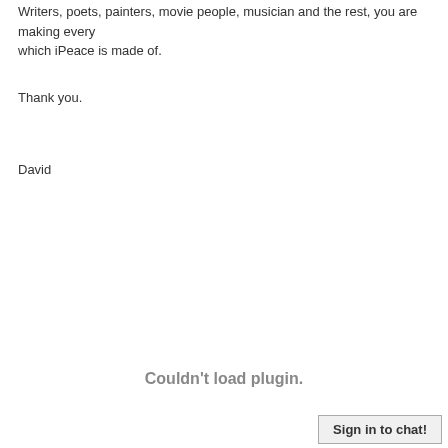Writers, poets, painters, movie people, musician and the rest, you are making every which iPeace is made of.
Thank you.
David
Couldn't load plugin.
Sign in to chat!